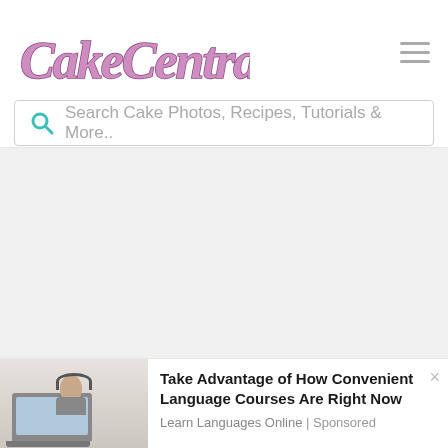CakeCentral
Search Cake Photos, Recipes, Tutorials & More..
[Figure (screenshot): Gray empty content area placeholder]
[Figure (photo): Woman wearing headset working on laptop computer]
Take Advantage of How Convenient Language Courses Are Right Now
Learn Languages Online | Sponsored